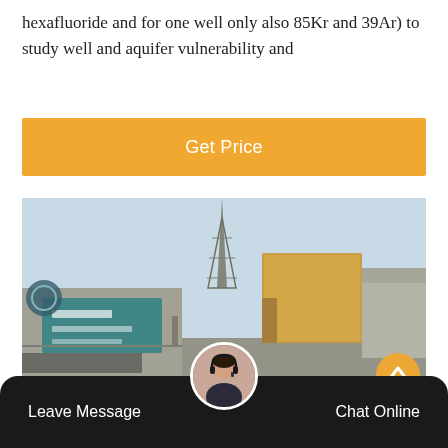hexafluoride and for one well only also 85Kr and 39Ar) to study well and aquifer vulnerability and
[Figure (other): Button/banner with orange background and white text reading 'Get Price']
[Figure (photo): Photograph of an industrial facility entrance showing a large yellow truck/container entering through a gate, with a teal-colored company sign with Chinese characters, a tall metal tower structure in the background, and factory buildings to the right, under a pale blue sky.]
Leave Message   Chat Online